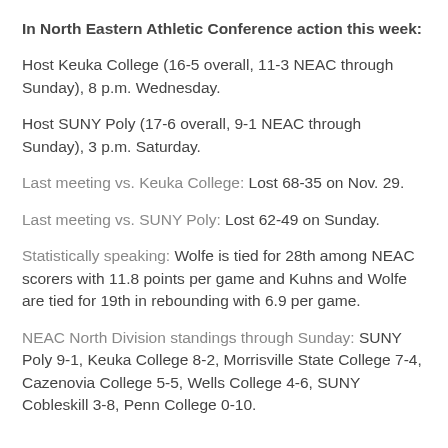In North Eastern Athletic Conference action this week:
Host Keuka College (16-5 overall, 11-3 NEAC through Sunday), 8 p.m. Wednesday.
Host SUNY Poly (17-6 overall, 9-1 NEAC through Sunday), 3 p.m. Saturday.
Last meeting vs. Keuka College: Lost 68-35 on Nov. 29.
Last meeting vs. SUNY Poly: Lost 62-49 on Sunday.
Statistically speaking: Wolfe is tied for 28th among NEAC scorers with 11.8 points per game and Kuhns and Wolfe are tied for 19th in rebounding with 6.9 per game.
NEAC North Division standings through Sunday: SUNY Poly 9-1, Keuka College 8-2, Morrisville State College 7-4, Cazenovia College 5-5, Wells College 4-6, SUNY Cobleskill 3-8, Penn College 0-10.